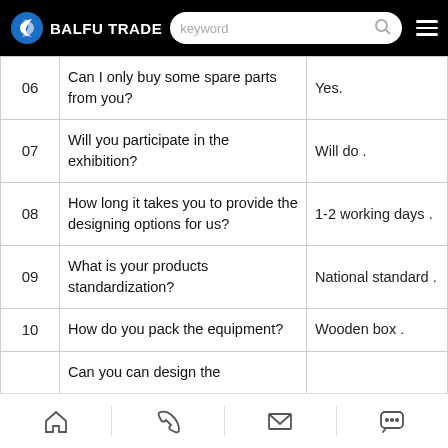BALFU TRADE — keyword search bar
| # | Question | Answer |
| --- | --- | --- |
| 06 | Can I only buy some spare parts from you? | Yes. |
| 07 | Will you participate in the exhibition? | Will do . |
| 08 | How long it takes you to provide the designing options for us? | 1-2 working days . |
| 09 | What is your products standardization? | National standard . |
| 10 | How do you pack the equipment? | Wooden box . |
|  | Can you can design the |  |
Home | Phone | Email | Chat